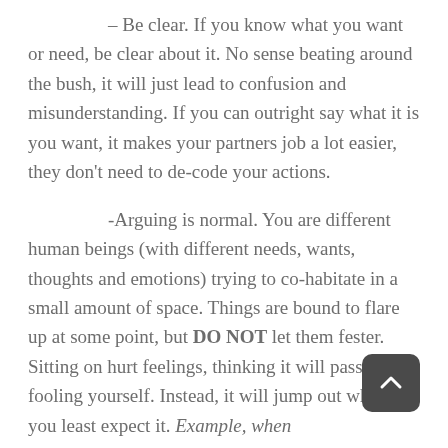– Be clear. If you know what you want or need, be clear about it. No sense beating around the bush, it will just lead to confusion and misunderstanding. If you can outright say what it is you want, it makes your partners job a lot easier, they don't need to de-code your actions.
-Arguing is normal. You are different human beings (with different needs, wants, thoughts and emotions) trying to co-habitate in a small amount of space. Things are bound to flare up at some point, but DO NOT let them fester. Sitting on hurt feelings, thinking it will pass, is just fooling yourself. Instead, it will jump out when you least expect it. Example, when and I were arguing about a parenting move, and all of a suddenly bring up something that had been a real…